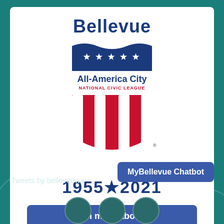[Figure (logo): Bellevue All-America City National Civic League shield logo with stars and red stripes, years 1955 and 2021]
Learn more about us
Social Media
Tweets by bellevuewa
MyBellevue Chatbot